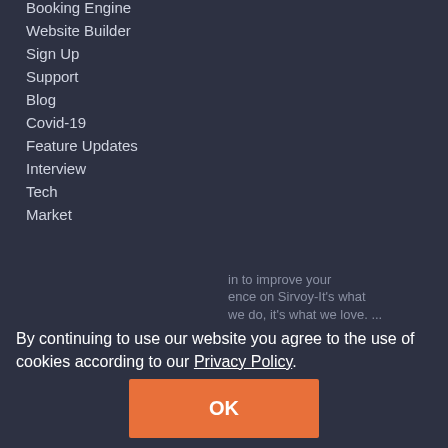Booking Engine
Website Builder
Sign Up
Support
Blog
Covid-19
Feature Updates
Interview
Tech
Market
Company
Blog
About Us
Contact Us
Blog
Privacy
Announcing the Airbnb REST API Connection
By continuing to use our website you agree to the use of cookies according to our Privacy Policy.
OK